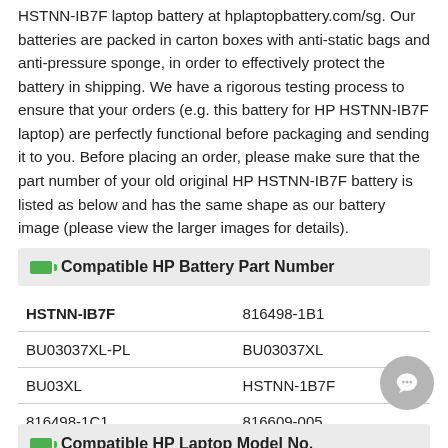HSTNN-IB7F laptop battery at hplaptopbattery.com/sg. Our batteries are packed in carton boxes with anti-static bags and anti-pressure sponge, in order to effectively protect the battery in shipping. We have a rigorous testing process to ensure that your orders (e.g. this battery for HP HSTNN-IB7F laptop) are perfectly functional before packaging and sending it to you. Before placing an order, please make sure that the part number of your old original HP HSTNN-IB7F battery is listed as below and has the same shape as our battery image (please view the larger images for details).
Compatible HP Battery Part Number
| HSTNN-IB7F | 816498-1B1 |
| BU03037XL-PL | BU03037XL |
| BU03XL | HSTNN-1B7F |
| 816498-1C1 | 816609-005 |
Compatible HP Laptop Model No.